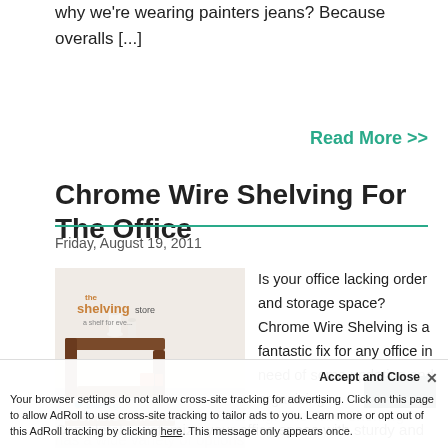why we're wearing painters jeans? Because overalls [...]
Read More >>
Chrome Wire Shelving For The Office
Friday, August 19, 2011
[Figure (photo): Photo of the shelving store – a shelf for every space, showing wooden wall-mounted shelves with white decorative items]
Is your office lacking order and storage space? Chrome Wire Shelving is a fantastic fix for any office in need of some updating and organizing. Completely customize your office space with sturdy and easy to assemble Chrome Wire Shelving. The Wire Shelving has a wide variety of options
Your browser settings do not allow cross-site tracking for advertising. Click on this page to allow AdRoll to use cross-site tracking to tailor ads to you. Learn more or opt out of this AdRoll tracking by clicking here. This message only appears once.